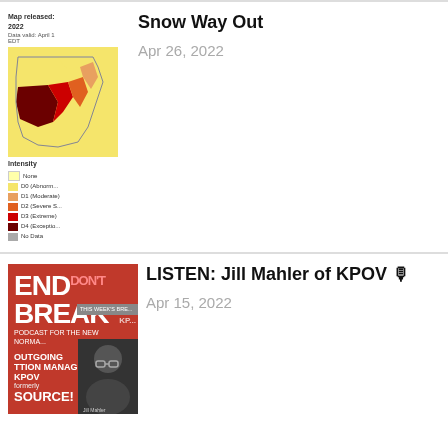[Figure (map): Oregon drought map released 2022, data valid April 1. Shows drought intensity legend: None (white/yellow), D0 Abnormally Dry, D1 Moderate, D2 Severe, D3 Extreme, D4 Exceptional, No Data (gray). Map shows heavy drought coverage in red/dark red across Oregon.]
Snow Way Out
Apr 26, 2022
[Figure (photo): Red podcast cover image for 'Bend Don't Break: Podcast for the New Normal'. Text reads 'OUTGOING STATION MANAGER AT KPOV — formerly SOURCE!' with a photo of Jill Mahler in lower right corner.]
LISTEN: Jill Mahler of KPOV 🎙
Apr 15, 2022
MORE »
[Figure (photo): Advertisement for Scoot Bend Electric Moped Rental. Left half shows a photo of a person with electric mopeds outdoors. Right half on black background shows: SCOOT•BEND logo with mountain graphic, 'Electric Moped Rental', 541-797-9017, info@scootbend.com, scootbend.com]